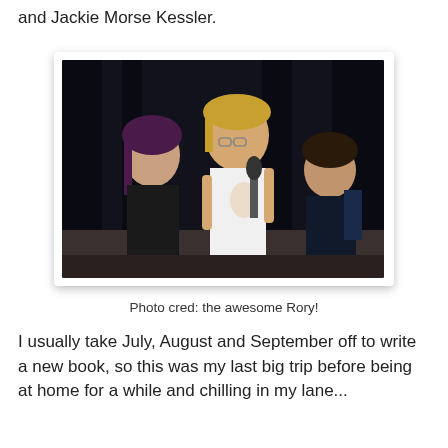and Jackie Morse Kessler.
[Figure (photo): Three people standing in front of a dark curtain backdrop. Center person is a tall person with glasses and blonde hair wearing a white t-shirt with a logo, holding a microphone. To the left is a person with dark purple hair in a black outfit. To the right is a person in a black top.]
Photo cred: the awesome Rory!
I usually take July, August and September off to write a new book, so this was my last big trip before being at home for a while and chilling in my lane...
[Figure (photo): Partial view of a screen or display showing a blue background with small dark icons/symbols arranged in rows, partially visible at bottom of page.]